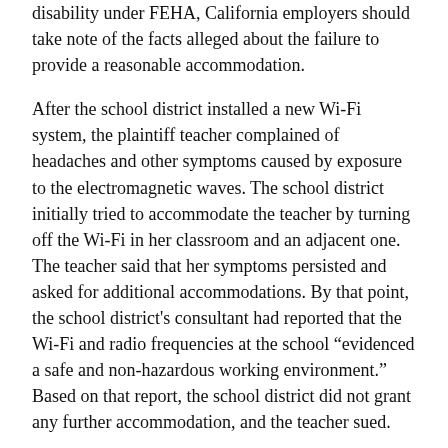disability under FEHA, California employers should take note of the facts alleged about the failure to provide a reasonable accommodation.
After the school district installed a new Wi-Fi system, the plaintiff teacher complained of headaches and other symptoms caused by exposure to the electromagnetic waves. The school district initially tried to accommodate the teacher by turning off the Wi-Fi in her classroom and an adjacent one. The teacher said that her symptoms persisted and asked for additional accommodations. By that point, the school district's consultant had reported that the Wi-Fi and radio frequencies at the school “evidenced a safe and non-hazardous working environment.” Based on that report, the school district did not grant any further accommodation, and the teacher sued.
In his concurring opinion, Justice Wiley expressed reluctance “about giving any sort of green light to this